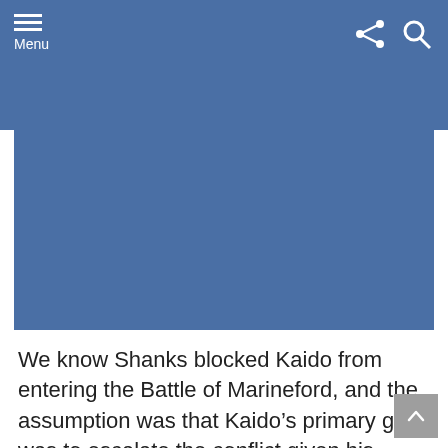Menu
[Figure (other): Blue rectangular image block placeholder]
We know Shanks blocked Kaido from entering the Battle of Marineford, and the assumption was that Kaido’s primary goal was to escalate the conflict given his desire to start a global war.